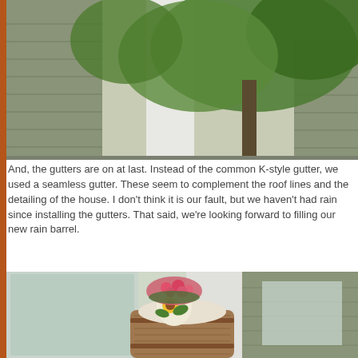[Figure (photo): Photo of house exterior showing gutters, siding, porch column, and green trees in background]
And, the gutters are on at last. Instead of the common K-style gutter, we used a seamless gutter. These seem to complement the roof lines and the detailing of the house. I don't think it is our fault, but we haven't had rain since installing the gutters. That said, we're looking forward to filling our new rain barrel.
[Figure (photo): Photo of a wooden rain barrel with a decorative pot of pink flowers (geraniums) on top, sunflower design on pot, in front of windows and house siding]